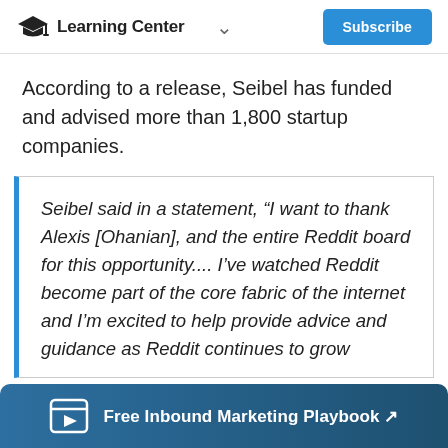Learning Center
According to a release, Seibel has funded and advised more than 1,800 startup companies.
Seibel said in a statement, “I want to thank Alexis [Ohanian], and the entire Reddit board for this opportunity.... I’ve watched Reddit become part of the core fabric of the internet and I’m excited to help provide advice and guidance as Reddit continues to grow
Free Inbound Marketing Playbook ↗